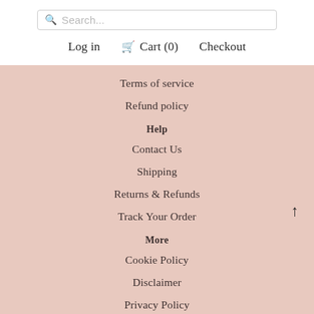[Figure (screenshot): Search bar with placeholder text 'Search...' and magnifying glass icon]
Log in  Cart (0)  Checkout
Terms of service
Refund policy
Help
Contact Us
Shipping
Returns & Refunds
Track Your Order
More
Cookie Policy
Disclaimer
Privacy Policy
Terms of Use